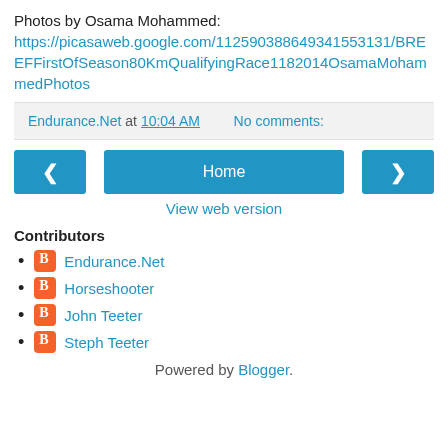Photos by Osama Mohammed: https://picasaweb.google.com/112590388649341553131/BREEFFirstOfSeason80KmQualifyingRace1182014OsamaMohammedPhotos
Endurance.Net at 10:04 AM   No comments:
< Home >
View web version
Contributors
Endurance.Net
Horseshooter
John Teeter
Steph Teeter
Powered by Blogger.